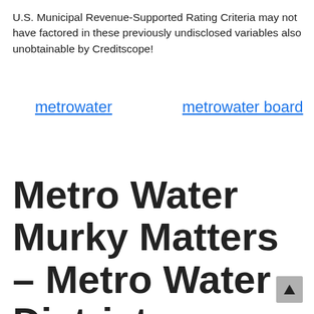U.S. Municipal Revenue-Supported Rating Criteria may not have factored in these previously undisclosed variables also unobtainable by Creditscope!
metrowater    metrowater board
Metro Water Murky Matters – Metro Water District -TucsonWeekly